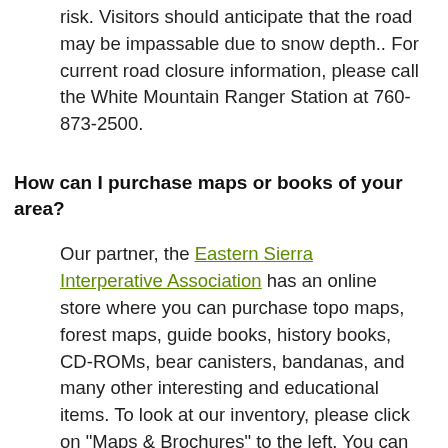risk. Visitors should anticipate that the road may be impassable due to snow depth.. For current road closure information, please call the White Mountain Ranger Station at 760-873-2500.
How can I purchase maps or books of your area?
Our partner, the Eastern Sierra Interperative Association has an online store where you can purchase topo maps, forest maps, guide books, history books, CD-ROMs, bear canisters, bandanas, and many other interesting and educational items. To look at our inventory, please click on "Maps & Brochures" to the left. You can also call for more information at 760-873-2411.
During your visit, you can stop at any of our Visitor Centers to find books and maps of the